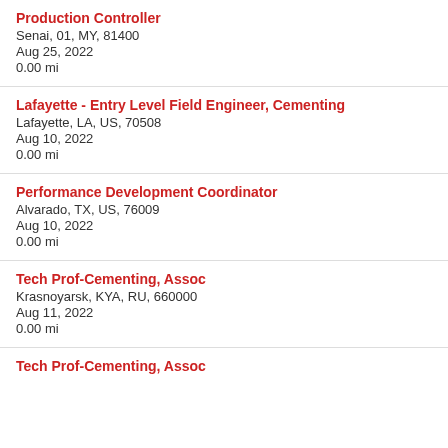Production Controller
Senai, 01, MY, 81400
Aug 25, 2022
0.00 mi
Lafayette - Entry Level Field Engineer, Cementing
Lafayette, LA, US, 70508
Aug 10, 2022
0.00 mi
Performance Development Coordinator
Alvarado, TX, US, 76009
Aug 10, 2022
0.00 mi
Tech Prof-Cementing, Assoc
Krasnoyarsk, KYA, RU, 660000
Aug 11, 2022
0.00 mi
Tech Prof-Cementing, Assoc